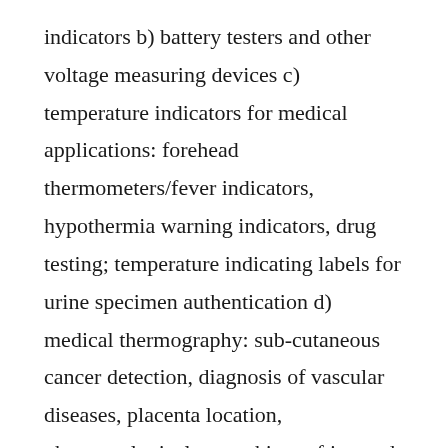indicators b) battery testers and other voltage measuring devices c) temperature indicators for medical applications: forehead thermometers/fever indicators, hypothermia warning indicators, drug testing; temperature indicating labels for urine specimen authentication d) medical thermography: sub-cutaneous cancer detection, diagnosis of vascular diseases, placenta location, pharmacological tests, skin grafting and vein location, veterinary applications, chiropractic applications e) radiation detection: infrared, microwave, ultraviolet, ultrasonic, electromagnetic f) aesthetic: advertising and